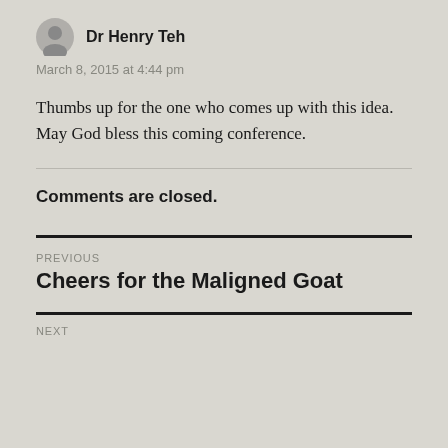Dr Henry Teh
March 8, 2015 at 4:44 pm
Thumbs up for the one who comes up with this idea. May God bless this coming conference.
Comments are closed.
PREVIOUS
Cheers for the Maligned Goat
NEXT